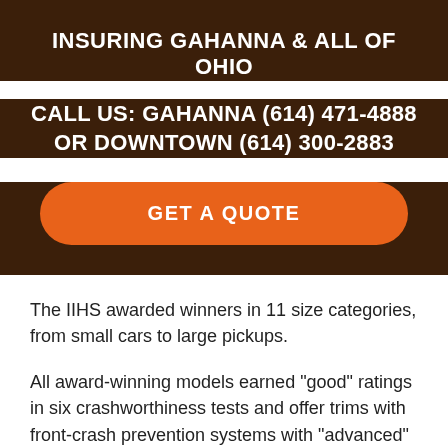INSURING GAHANNA & ALL OF OHIO
CALL US: GAHANNA (614) 471-4888 OR DOWNTOWN (614) 300-2883
GET A QUOTE
The IIHS awarded winners in 11 size categories, from small cars to large pickups.
All award-winning models earned "good" ratings in six crashworthiness tests and offer trims with front-crash prevention systems with "advanced" or